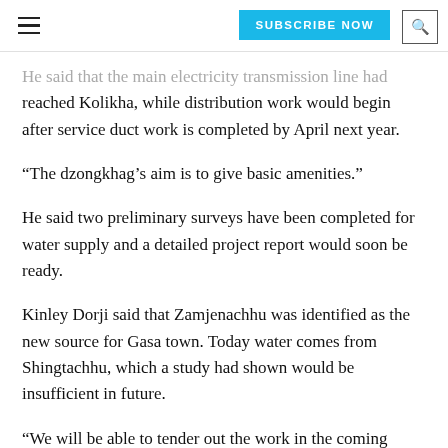SUBSCRIBE NOW [search]
He said that the main electricity transmission line had reached Kolikha, while distribution work would begin after service duct work is completed by April next year.
“The dzongkhag’s aim is to give basic amenities.”
He said two preliminary surveys have been completed for water supply and a detailed project report would soon be ready.
Kinley Dorji said that Zamjenachhu was identified as the new source for Gasa town. Today water comes from Shingtachhu, which a study had shown would be insufficient in future.
“We will be able to tender out the work in the coming financial year,” he said. “The work would be executed through the water flagship programme.”